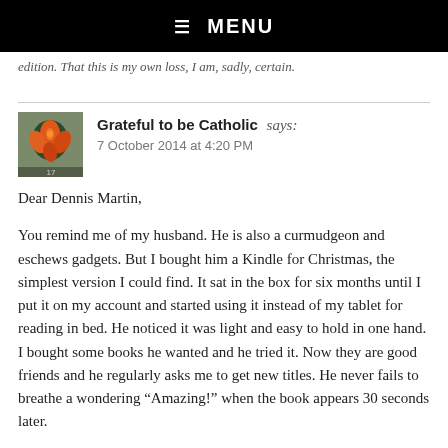☰ MENU
edition. That this is my own loss, I am, sadly, certain.
Grateful to be Catholic says:
7 October 2014 at 4:20 PM
Dear Dennis Martin,
You remind me of my husband. He is also a curmudgeon and eschews gadgets. But I bought him a Kindle for Christmas, the simplest version I could find. It sat in the box for six months until I put it on my account and started using it instead of my tablet for reading in bed. He noticed it was light and easy to hold in one hand. I bought some books he wanted and he tried it. Now they are good friends and he regularly asks me to get new titles. He never fails to breathe a wondering “Amazing!” when the book appears 30 seconds later.